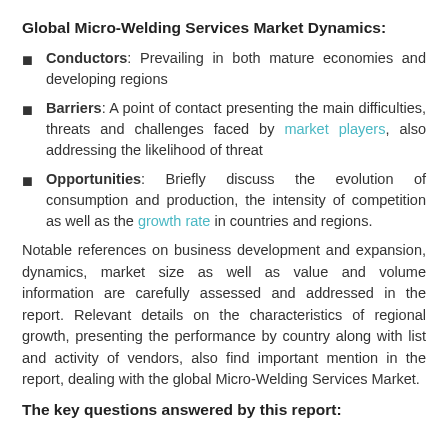Global Micro-Welding Services Market Dynamics:
Conductors: Prevailing in both mature economies and developing regions
Barriers: A point of contact presenting the main difficulties, threats and challenges faced by market players, also addressing the likelihood of threat
Opportunities: Briefly discuss the evolution of consumption and production, the intensity of competition as well as the growth rate in countries and regions.
Notable references on business development and expansion, dynamics, market size as well as value and volume information are carefully assessed and addressed in the report. Relevant details on the characteristics of regional growth, presenting the performance by country along with list and activity of vendors, also find important mention in the report, dealing with the global Micro-Welding Services Market.
The key questions answered by this report: